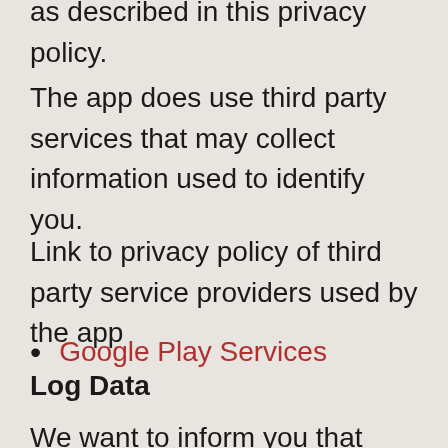request will be retained by us and used as described in this privacy policy.
The app does use third party services that may collect information used to identify you.
Link to privacy policy of third party service providers used by the app
Google Play Services
Log Data
We want to inform you that whenever